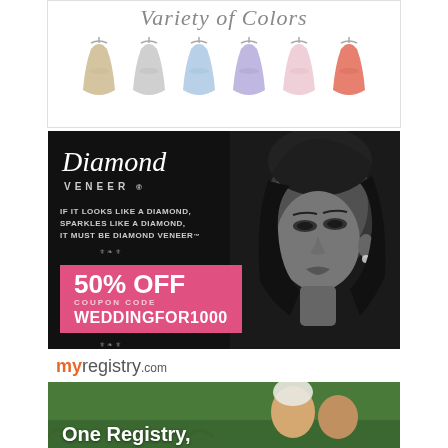[Figure (illustration): Advertisement showing dresses in a variety of colors (champagne, silver, light blue, periwinkle, pink, coral) hanging on hangers with script text 'Variety of Colors' at the top]
[Figure (photo): Diamond Veneer advertisement with black background showing a glamorous woman's face, brand logo, tagline 'If it looks like a diamond, sparkles like a diamond, it must be Diamond Veneer', and a pink promo box showing '50% OFF' with coupon code 'WEDDINGFOR1000']
[Figure (photo): myregistry.com advertisement showing the logo text and beginning of a wedding couple photo with text 'One Registry,']